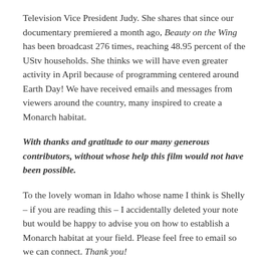Television Vice President Judy. She shares that since our documentary premiered a month ago, Beauty on the Wing has been broadcast 276 times, reaching 48.95 percent of the UStv households. She thinks we will have even greater activity in April because of programming centered around Earth Day! We have received emails and messages from viewers around the country, many inspired to create a Monarch habitat.
With thanks and gratitude to our many generous contributors, without whose help this film would not have been possible.
To the lovely woman in Idaho whose name I think is Shelly – if you are reading this – I accidentally deleted your note but would be happy to advise you on how to establish a Monarch habitat at your field. Please feel free to email so we can connect. Thank you!